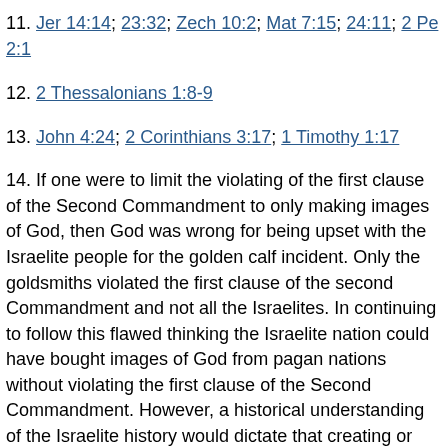11. Jer 14:14; 23:32; Zech 10:2; Mat 7:15; 24:11; 2 Pe 2:1
12. 2 Thessalonians 1:8-9
13. John 4:24; 2 Corinthians 3:17; 1 Timothy 1:17
14. If one were to limit the violating of the first clause of the Second Commandment to only making images of God, then God was wrong for being upset with the Israelite people for the golden calf incident. Only the goldsmiths violated the first clause of the second Commandment and not all the Israelites. In continuing to follow this flawed thinking the Israelite nation could have bought images of God from pagan nations without violating the first clause of the Second Commandment. However, a historical understanding of the Israelite history would dictate that creating or having people-made images of God displeased God.